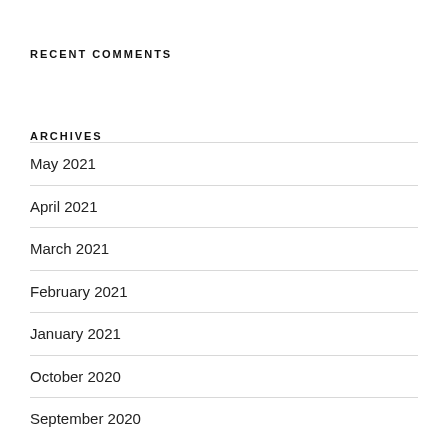RECENT COMMENTS
ARCHIVES
May 2021
April 2021
March 2021
February 2021
January 2021
October 2020
September 2020